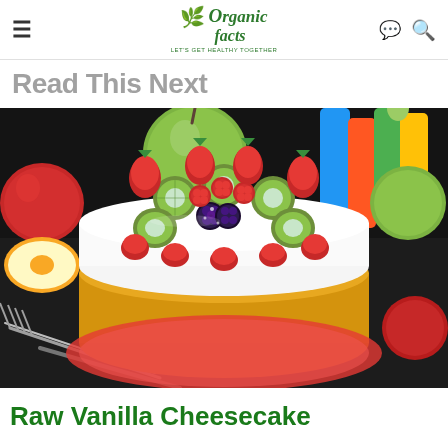Organic Facts — LET'S GET HEALTHY TOGETHER
Read This Next
[Figure (photo): A decorated raw vanilla cheesecake topped with strawberries, kiwi slices, raspberries, and blackberries, surrounded by green and red apples on a dark surface with a fork in the foreground.]
Raw Vanilla Cheesecake